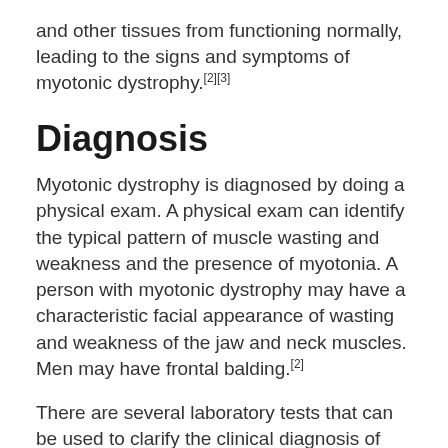and other tissues from functioning normally, leading to the signs and symptoms of myotonic dystrophy.[2][3]
Diagnosis
Myotonic dystrophy is diagnosed by doing a physical exam. A physical exam can identify the typical pattern of muscle wasting and weakness and the presence of myotonia. A person with myotonic dystrophy may have a characteristic facial appearance of wasting and weakness of the jaw and neck muscles. Men may have frontal balding.[2]
There are several laboratory tests that can be used to clarify the clinical diagnosis of myotonic dystrophy. One test, called electromyography (EMG), involves inserting a small needle into the